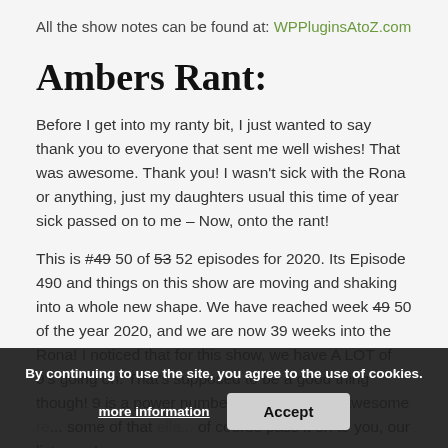All the show notes can be found at: WPPluginsAtoZ.com
Ambers Rant:
Before I get into my ranty bit, I just wanted to say thank you to everyone that sent me well wishes! That was awesome. Thank you! I wasn't sick with the Rona or anything, just my daughters usual this time of year sick passed on to me – Now, onto the rant!
This is #49 50 of 53 52 episodes for 2020. Its Episode 490 and things on this show are moving and shaking into a whole new shape. We have reached week 49 50 of the year 2020, and we are now 39 weeks into the Rona! I noticed that for this show, we have A LOT of 9's going on. That's supposed to be a good thing though! 9 is a power number! Also, bunch of awesome ... some of that ... of course pass it on to you, our listeners!
By continuing to use the site, you agree to the use of cookies.
more information
Accept